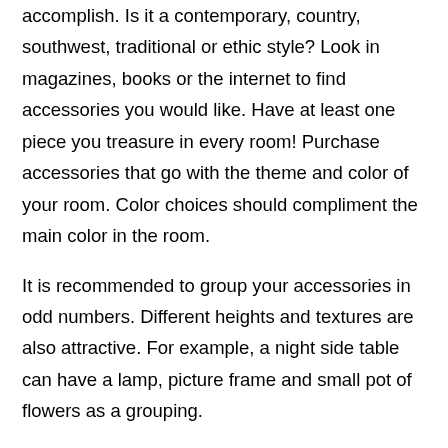accomplish. Is it a contemporary, country, southwest, traditional or ethic style? Look in magazines, books or the internet to find accessories you would like. Have at least one piece you treasure in every room! Purchase accessories that go with the theme and color of your room. Color choices should compliment the main color in the room.
It is recommended to group your accessories in odd numbers. Different heights and textures are also attractive. For example, a night side table can have a lamp, picture frame and small pot of flowers as a grouping.
Entry ways should be uncluttered. This area of the home is the first hint at what the rest of your home is like. A side table with your most dramatic or unusual accessories will set the tone in this important area of your home!
Pictures should be hung so that the middle of the picture is at eye level. Art work should be placed so the finest point is at...